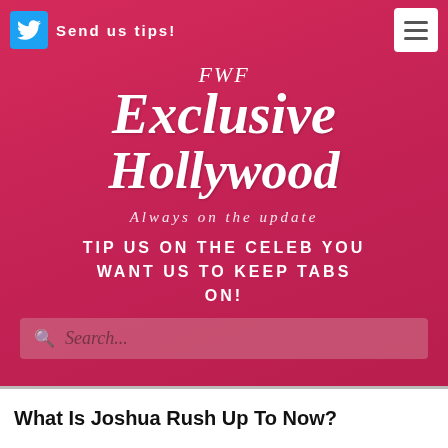Send us tips!
FWF
Exclusive
Hollywood
Always on the update
TIP US ON THE CELEB YOU WANT US TO KEEP TABS ON!
Search...
What Is Joshua Rush Up To Now?